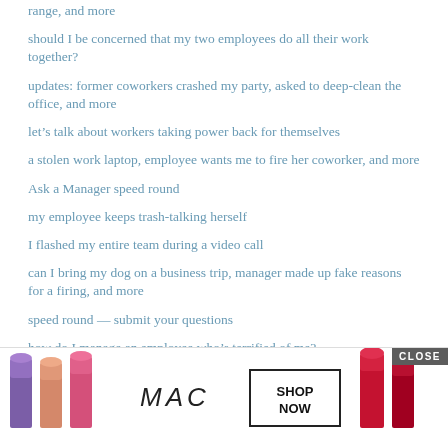range, and more
should I be concerned that my two employees do all their work together?
updates: former coworkers crashed my party, asked to deep-clean the office, and more
let’s talk about workers taking power back for themselves
a stolen work laptop, employee wants me to fire her coworker, and more
Ask a Manager speed round
my employee keeps trash-talking herself
I flashed my entire team during a video call
can I bring my dog on a business trip, manager made up fake reasons for a firing, and more
speed round — submit your questions
how do I manage an employee who’s terrified of me?
a real-life salary negotiation, with emails
I sent my boss a long, angry email — but I typed a different wrong
I disag... her manag...
[Figure (advertisement): MAC Cosmetics advertisement overlay with lipstick products, MAC logo, SHOP NOW button, and CLOSE button]